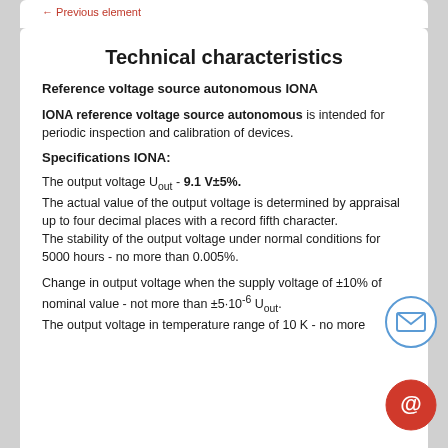Technical characteristics
Reference voltage source autonomous IONA
IONA reference voltage source autonomous is intended for periodic inspection and calibration of devices.
Specifications IONA:
The output voltage Uout - 9.1 V±5%.
The actual value of the output voltage is determined by appraisal up to four decimal places with a record fifth character.
The stability of the output voltage under normal conditions for 5000 hours - no more than 0.005%.
Change in output voltage when the supply voltage of ±10% of nominal value - not more than ±5·10⁻⁶ Uout.
The output voltage in temperature range of 10 K - no more than...